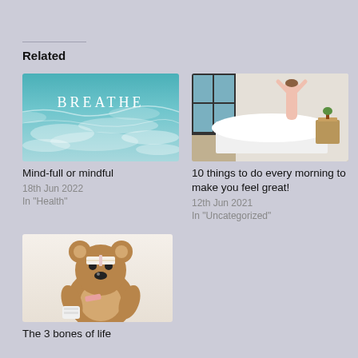Related
[Figure (photo): Ocean waves with white text overlay reading BREATHE]
Mind-full or mindful
18th Jun 2022
In "Health"
[Figure (photo): Person stretching arms above head while sitting on a bed near a window]
10 things to do every morning to make you feel great!
12th Jun 2021
In "Uncategorized"
[Figure (photo): Brown teddy bear with bandages/medical wrappings]
The 3 bones of life